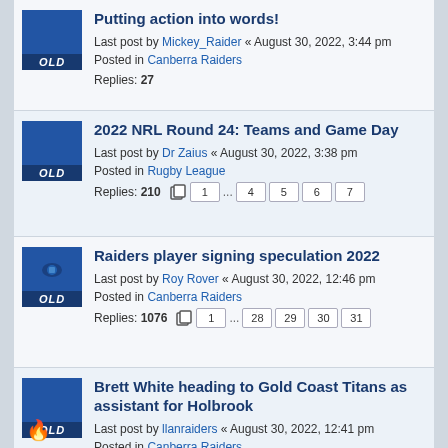Putting action into words! — Last post by Mickey_Raider « August 30, 2022, 3:44 pm — Posted in Canberra Raiders — Replies: 27
2022 NRL Round 24: Teams and Game Day — Last post by Dr Zaius « August 30, 2022, 3:38 pm — Posted in Rugby League — Replies: 210 — Pages: 1 ... 4 5 6 7
Raiders player signing speculation 2022 — Last post by Roy Rover « August 30, 2022, 12:46 pm — Posted in Canberra Raiders — Replies: 1076 — Pages: 1 ... 28 29 30 31
Brett White heading to Gold Coast Titans as assistant for Holbrook — Last post by llanraiders « August 30, 2022, 12:41 pm — Posted in Canberra Raiders — Replies: 49 — Pages: 1 2